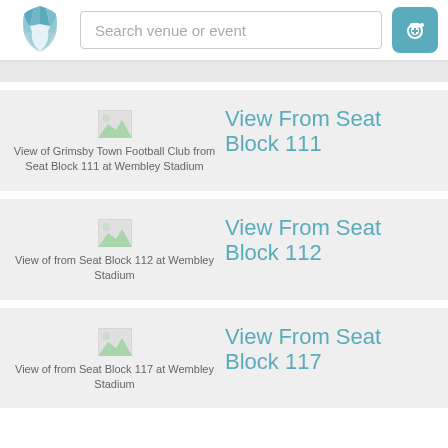[Figure (screenshot): App header with teal stadium logo on left, search box in middle, and camera/add icon on right]
Search venue or event
[Figure (screenshot): Card listing: View of Grimsby Town Football Club from Seat Block 111 at Wembley Stadium, titled View From Seat Block 111]
View From Seat Block 111
View of Grimsby Town Football Club from Seat Block 111 at Wembley Stadium
[Figure (screenshot): Card listing: View of from Seat Block 112 at Wembley Stadium, titled View From Seat Block 112]
View From Seat Block 112
View of from Seat Block 112 at Wembley Stadium
[Figure (screenshot): Card listing: View of from Seat Block 117 at Wembley Stadium, titled View From Seat Block 117]
View From Seat Block 117
View of from Seat Block 117 at Wembley Stadium